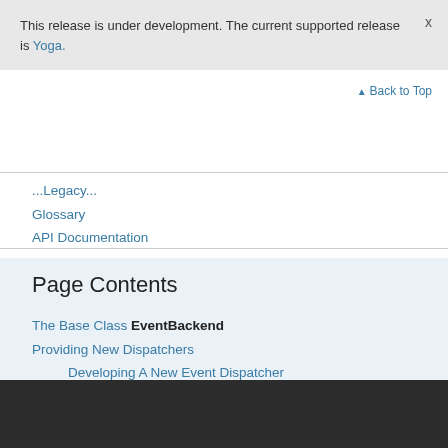This release is under development. The current supported release is Yoga.
Glossary
API Documentation
Page Contents
The Base Class EventBackend
Providing New Dispatchers
Developing A New Event Dispatcher
Registering the New Dispatcher
Dynamically Enabling/Disabling a Dispatcher